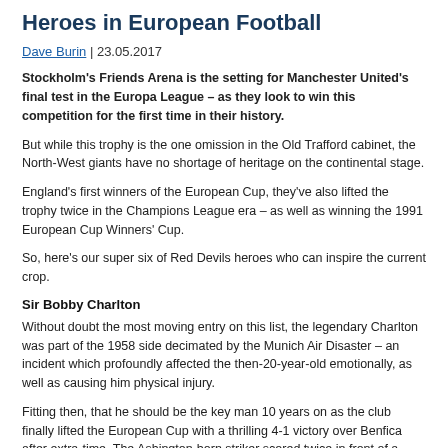Heroes in European Football
Dave Burin | 23.05.2017
Stockholm's Friends Arena is the setting for Manchester United's final test in the Europa League – as they look to win this competition for the first time in their history.
But while this trophy is the one omission in the Old Trafford cabinet, the North-West giants have no shortage of heritage on the continental stage.
England's first winners of the European Cup, they've also lifted the trophy twice in the Champions League era – as well as winning the 1991 European Cup Winners' Cup.
So, here's our super six of Red Devils heroes who can inspire the current crop.
Sir Bobby Charlton
Without doubt the most moving entry on this list, the legendary Charlton was part of the 1958 side decimated by the Munich Air Disaster – an incident which profoundly affected the then-20-year-old emotionally, as well as causing him physical injury.
Fitting then, that he should be the key man 10 years on as the club finally lifted the European Cup with a thrilling 4-1 victory over Benfica after extra-time. The Ashington-born striker scored twice in front of a jubilant crowd of 100,000 Wembley Stadium, as he captained his boyhood club to